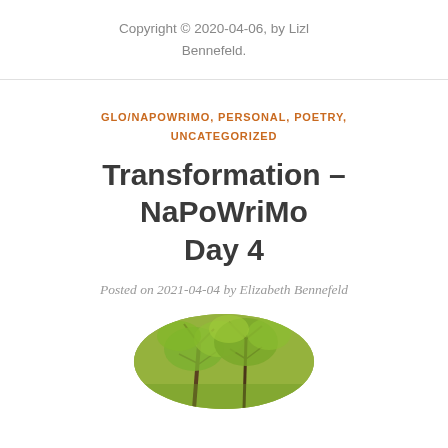Copyright © 2020-04-06, by Lizl Bennefeld.
GLO/NAPOWRIMO, PERSONAL, POETRY, UNCATEGORIZED
Transformation – NaPoWriMo Day 4
Posted on 2021-04-04 by Elizabeth Bennefeld
[Figure (photo): Oval-cropped photo of trees with green foliage, partially visible at the bottom of the page]